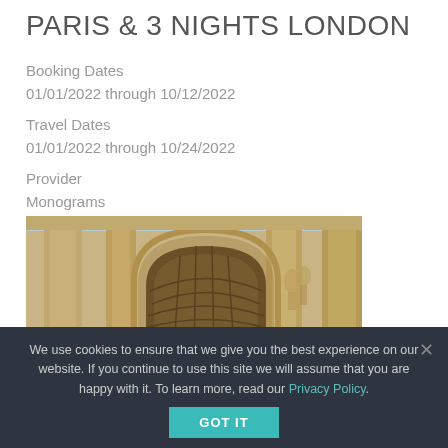PARIS & 3 NIGHTS LONDON
Booking Dates
01/01/2022 through 10/12/2022
Travel Dates
01/01/2022 through 10/24/2022
Provider
Monograms
[Figure (photo): Architectural photo showing ornate classical building facade with large arch, decorative coffered ceiling, stone columns, and sculpture details]
We use cookies to ensure that we give you the best experience on our website. If you continue to use this site we will assume that you are happy with it. To learn more, read our Privacy Policy.
GOT IT